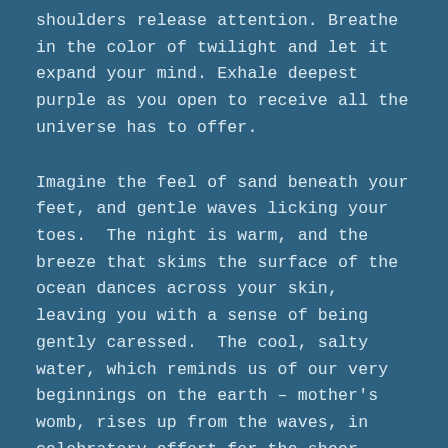shoulders release attention. Breathe in the color of twilight and let it expand your mind. Exhale deepest purple as you open to receive all the universe has to offer.
Imagine the feel of sand beneath your feet, and gentle waves licking your toes.  The night is warm, and the breeze that skims the surface of the ocean dances across your skin, leaving you with a sense of being gently caressed.  The cool, salty water, which reminds us of our very beginnings on the earth – mother's womb, rises up from the waves, in celebratory effort for the sheer possibility of landing on your lips to be licked away by your tongue.  The ocean ebbs and flows, thrusts and retreats, yearning and longing for you to step gently into her waters, so